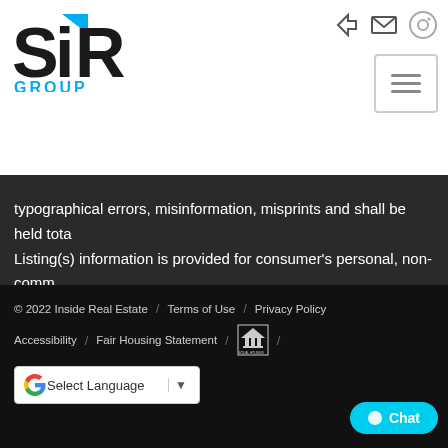[Figure (logo): SiR GROUP real estate logo with teal accent and hamburger menu icon]
typographical errors, misinformation, misprints and shall be held tota... Listing(s) information is provided for consumer's personal, non-comm... may not be used for any purpose other than to identify prospective p... consumers may be interested in purchasing.   Show More...
© 2022 Inside Real Estate / Terms of Use / Privacy Policy / Accessibility / Fair Housing Statement / [Equal Housing Logo] / Select Language